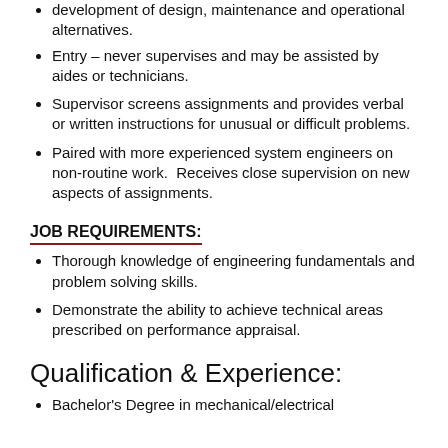development of design, maintenance and operational alternatives.
Entry – never supervises and may be assisted by aides or technicians.
Supervisor screens assignments and provides verbal or written instructions for unusual or difficult problems.
Paired with more experienced system engineers on non-routine work.  Receives close supervision on new aspects of assignments.
JOB REQUIREMENTS:
Thorough knowledge of engineering fundamentals and problem solving skills.
Demonstrate the ability to achieve technical areas prescribed on performance appraisal.
Qualification & Experience:
Bachelor's Degree in mechanical/electrical